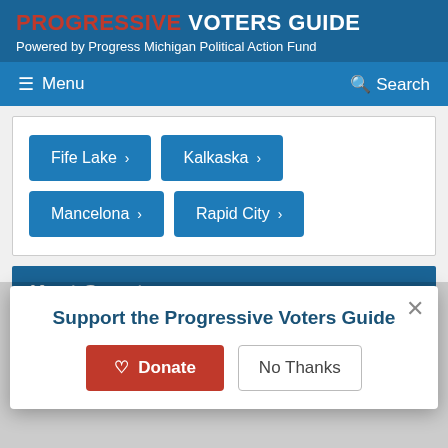PROGRESSIVE VOTERS GUIDE
Powered by Progress Michigan Political Action Fund
Menu   Search
Fife Lake >
Kalkaska >
Mancelona >
Rapid City >
Kent County
All Kent County Races >
Support the Progressive Voters Guide
Donate   No Thanks